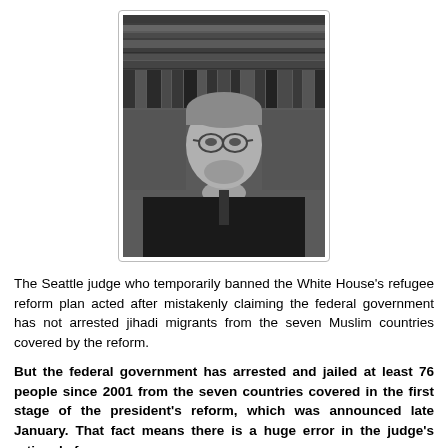[Figure (photo): Black and white photograph of a judge wearing judicial robes, with law books on shelves in the background. The judge has gray hair, glasses, and a slight smile.]
The Seattle judge who temporarily banned the White House's refugee reform plan acted after mistakenly claiming the federal government has not arrested jihadi migrants from the seven Muslim countries covered by the reform.
But the federal government has arrested and jailed at least 76 people since 2001 from the seven countries covered in the first stage of the president's reform, which was announced late January. That fact means there is a huge error in the judge's rationale for issuing...